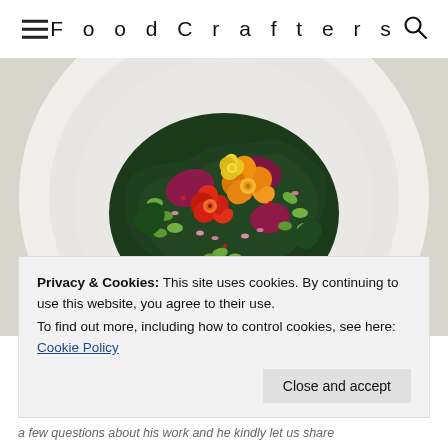FoodCrafters
[Figure (photo): Overhead view of a white plate with a colorful salad featuring edamame, beet slices, dark leafy greens, red onion, and orange/red edible flowers (nasturtiums) arranged on top.]
Privacy & Cookies: This site uses cookies. By continuing to use this website, you agree to their use.
To find out more, including how to control cookies, see here: Cookie Policy
a few questions about his work and he kindly let us share